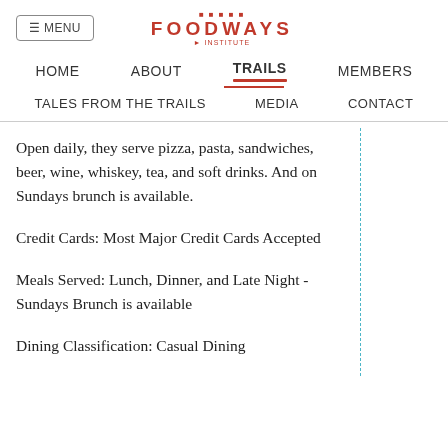≡ MENU | FOODWAYS
HOME   ABOUT   TRAILS   MEMBERS   TALES FROM THE TRAILS   MEDIA   CONTACT
Open daily, they serve pizza, pasta, sandwiches, beer, wine, whiskey, tea, and soft drinks. And on Sundays brunch is available.
Credit Cards: Most Major Credit Cards Accepted
Meals Served: Lunch, Dinner, and Late Night - Sundays Brunch is available
Dining Classification: Casual Dining